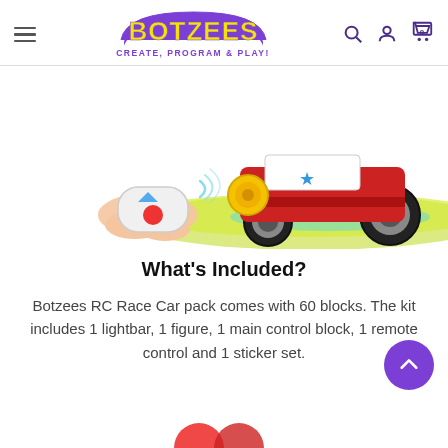Botzees — CREATE, PROGRAM & PLAY!
[Figure (photo): Product photo showing a Botzees RC Race Car (red and white block-built truck with large black wheels and yellow gears) being operated by child's hands holding a white/red/blue remote control, on a yellow-green surface background]
What's Included?
Botzees RC Race Car pack comes with 60 blocks. The kit includes 1 lightbar, 1 figure, 1 main control block, 1 remote control and 1 sticker set.